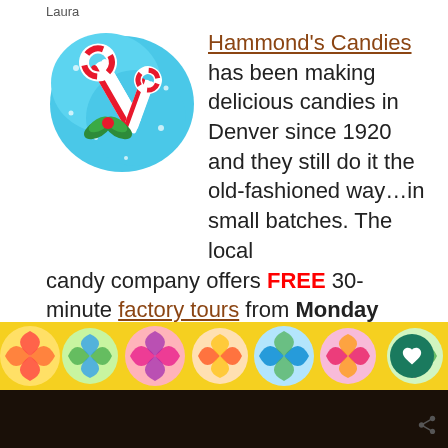Laura
Hammond's Candies has been making delicious candies in Denver since 1920 and they still do it the old-fashioned way…in small batches. The local candy company offers FREE 30-minute factory tours from Monday through Friday. The sugar-filled experience is a great way to entertain the entire family. The tour shows the candy makers mixing, pouring and hand-pulling a variety of sweets, including oversize candy canes, ribbon candy, lollipops and more. And, of course, everyone gets a FREE sweet treat at the conclusion of the tour. Sweet!
[Figure (illustration): Colorful candy canes illustration on a blue background with a green bow]
[Figure (photo): Colorful swirled lollipops in rainbow colors as a banner image at the bottom]